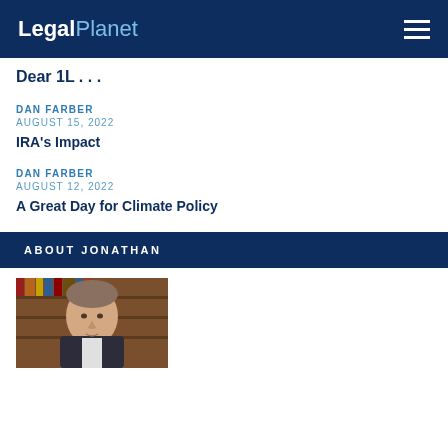LegalPlanet
Dear 1L . . .
DAN FARBER
AUGUST 15, 2022
IRA's Impact
DAN FARBER
AUGUST 12, 2022
A Great Day for Climate Policy
ABOUT JONATHAN
[Figure (photo): Headshot photo of Jonathan in front of a bookshelf]